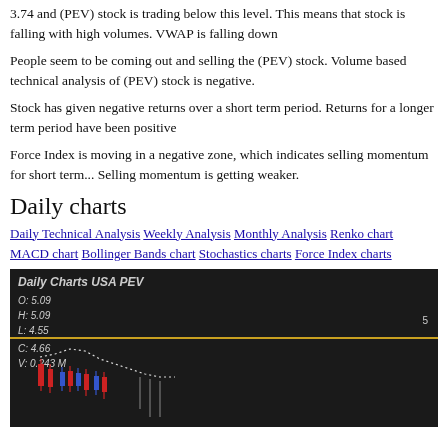3.74 and (PEV) stock is trading below this level. This means that stock is falling with high volumes. VWAP is falling down
People seem to be coming out and selling the (PEV) stock. Volume based technical analysis of (PEV) stock is negative.
Stock has given negative returns over a short term period. Returns for a longer term period have been positive
Force Index is moving in a negative zone, which indicates selling momentum for short term... Selling momentum is getting weaker.
Daily charts
Daily Technical Analysis Weekly Analysis Monthly Analysis Renko chart MACD chart Bollinger Bands chart Stochastics charts Force Index charts
[Figure (other): Daily Charts USA PEV candlestick chart with O: 5.09, H: 5.09, L: 4.55, C: 4.66, V: 0.243 M. Shows candlestick price action with red and blue candles, dotted price line, on dark background with gold horizontal line.]